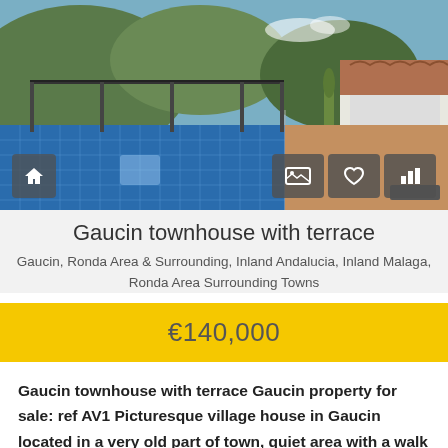[Figure (photo): Exterior photo of a property in Gaucin showing a rooftop terrace with a blue mosaic swimming pool, terracotta decking, metal railing, a large potted cactus, and mountain/village views in the background under a blue sky.]
Gaucin townhouse with terrace
Gaucin, Ronda Area & Surrounding, Inland Andalucia, Inland Malaga, Ronda Area Surrounding Towns
€140,000
Gaucin townhouse with terrace Gaucin property for sale: ref AV1 Picturesque village house in Gaucin located in a very old part of town, quiet area with a walk directly into the